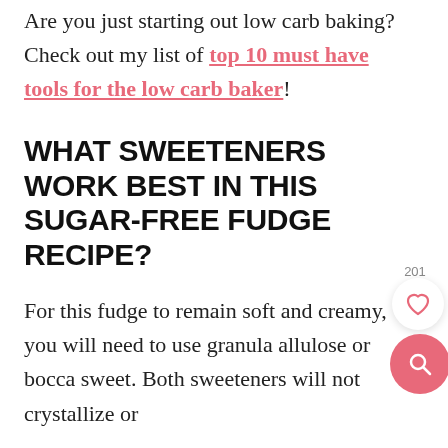Are you just starting out low carb baking? Check out my list of top 10 must have tools for the low carb baker!
WHAT SWEETENERS WORK BEST IN THIS SUGAR-FREE FUDGE RECIPE?
For this fudge to remain soft and creamy, you will need to use granula allulose or bocca sweet. Both sweeteners will not crystallize or